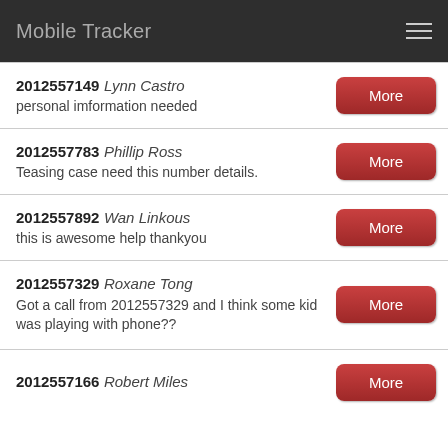Mobile Tracker
2012557149 Lynn Castro
personal imformation needed
2012557783 Phillip Ross
Teasing case need this number details.
2012557892 Wan Linkous
this is awesome help thankyou
2012557329 Roxane Tong
Got a call from 2012557329 and I think some kid was playing with phone??
2012557166 Robert Miles